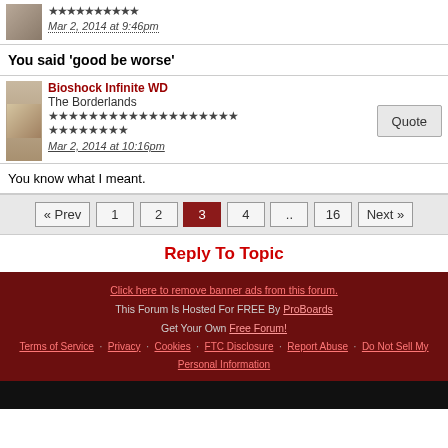Mar 2, 2014 at 9:46pm
You said 'good be worse'
Bioshock Infinite WD
The Borderlands
Mar 2, 2014 at 10:16pm
You know what I meant.
« Prev 1 2 3 4 .. 16 Next »
Reply To Topic
Click here to remove banner ads from this forum. This Forum Is Hosted For FREE By ProBoards Get Your Own Free Forum! Terms of Service · Privacy · Cookies · FTC Disclosure · Report Abuse · Do Not Sell My Personal Information